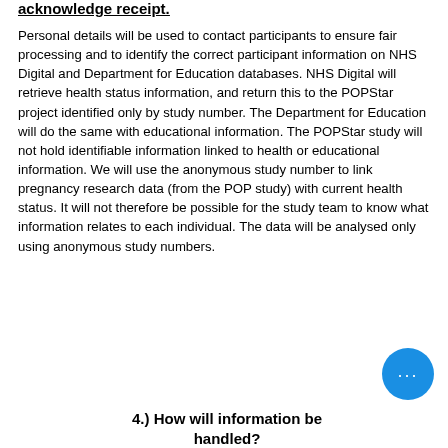acknowledge receipt.
Personal details will be used to contact participants to ensure fair processing and to identify the correct participant information on NHS Digital and Department for Education databases. NHS Digital will retrieve health status information, and return this to the POPStar project identified only by study number. The Department for Education will do the same with educational information. The POPStar study will not hold identifiable information linked to health or educational information. We will use the anonymous study number to link pregnancy research data (from the POP study) with current health status. It will not therefore be possible for the study team to know what information relates to each individual. The data will be analysed only using anonymous study numbers.
4.) How will information be handled?